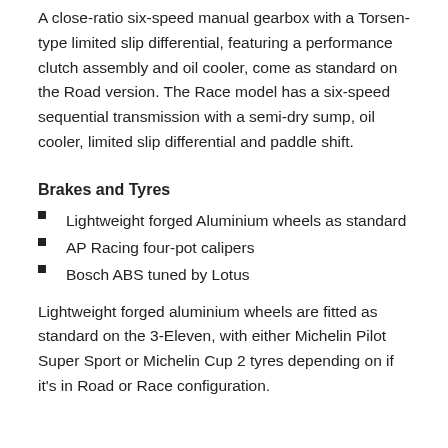A close-ratio six-speed manual gearbox with a Torsen-type limited slip differential, featuring a performance clutch assembly and oil cooler, come as standard on the Road version. The Race model has a six-speed sequential transmission with a semi-dry sump, oil cooler, limited slip differential and paddle shift.
Brakes and Tyres
Lightweight forged Aluminium wheels as standard
AP Racing four-pot calipers
Bosch ABS tuned by Lotus
Lightweight forged aluminium wheels are fitted as standard on the 3-Eleven, with either Michelin Pilot Super Sport or Michelin Cup 2 tyres depending on if it's in Road or Race configuration.